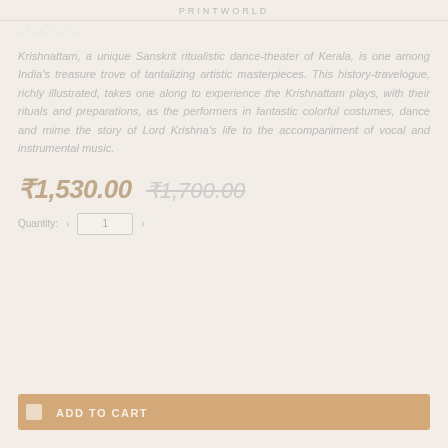PRINTWORLD
Krishnattam, a unique Sanskrit ritualistic dance-theater of Kerala, is one among India's treasure trove of tantalizing artistic masterpieces. This history-travelogue, richly illustrated, takes one along to experience the Krishnattam plays, with their rituals and preparations, as the performers in fantastic colorful costumes, dance and mime the story of Lord Krishna's life to the accompaniment of vocal and instrumental music.
₹1,530.00  ₹1,700.00
Quantity: 1